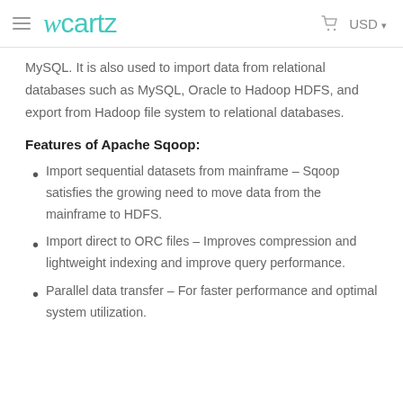Ucartz — USD
MySQL. It is also used to import data from relational databases such as MySQL, Oracle to Hadoop HDFS, and export from Hadoop file system to relational databases.
Features of Apache Sqoop:
Import sequential datasets from mainframe – Sqoop satisfies the growing need to move data from the mainframe to HDFS.
Import direct to ORC files – Improves compression and lightweight indexing and improve query performance.
Parallel data transfer – For faster performance and optimal system utilization.